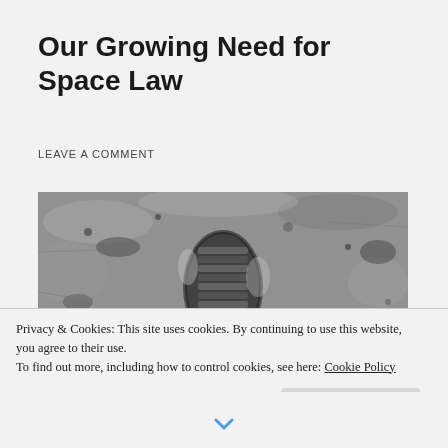Our Growing Need for Space Law
LEAVE A COMMENT
[Figure (photo): Black and white photograph of a boot print/footprint pressed into lunar soil on the moon's surface, seen from above.]
Privacy & Cookies: This site uses cookies. By continuing to use this website, you agree to their use.
To find out more, including how to control cookies, see here: Cookie Policy
Close and accept